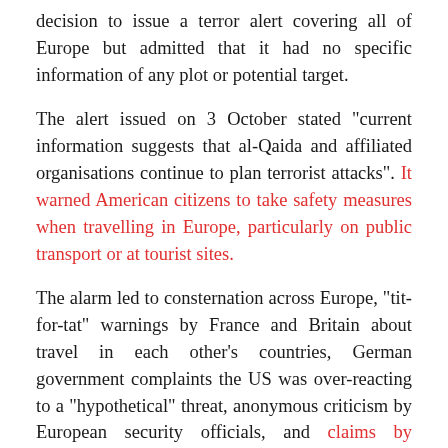decision to issue a terror alert covering all of Europe but admitted that it had no specific information of any plot or potential target.
The alert issued on 3 October stated "current information suggests that al-Qaida and affiliated organisations continue to plan terrorist attacks". It warned American citizens to take safety measures when travelling in Europe, particularly on public transport or at tourist sites.
The alarm led to consternation across Europe, "tit-for-tat" warnings by France and Britain about travel in each other's countries, German government complaints the US was over-reacting to a "hypothetical" threat, anonymous criticism by European security officials, and claims by Pakistani diplomats that the US move was